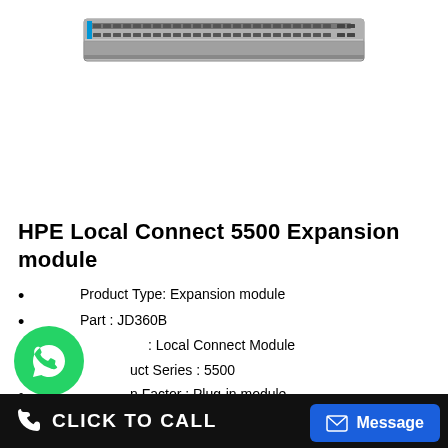[Figure (photo): HPE network switch/expansion module hardware photo showing front panel with multiple ports]
HPE Local Connect 5500 Expansion module
Product Type: Expansion module
Part : JD360B
Type : Local Connect Module
Product Series : 5500
Form Factor : Plug-in module
Interface Type : SFP+ Module
Designed For HP A5120-24, A5120-48, A5500-24